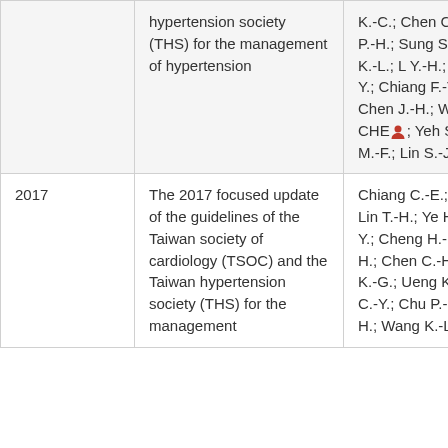| Year | Title | Authors |
| --- | --- | --- |
|  | hypertension society (THS) for the management of hypertension | K.-C.; Chen C.-Y.; Chu P.-H.; Sung S H.; Wang K.-L.; L Y.-H.; Wang K.-Y.; Chiang F.-T.; Lai T.; Chen J.-H.; WEN-JONE CHEN [icon]; Yeh S.-J.; Che M.-F.; Lin S.-J.; Li J.-L. |
| 2017 | The 2017 focused update of the guidelines of the Taiwan society of cardiology (TSOC) and the Taiwan hypertension society (THS) for the management | Chiang C.-E.; Wa T.-D.; Lin T.-H.; Ye H.-I.; Liu P.-Y.; Cheng H.-M.; Ch T.-H.; Chen C.-H.; Shyu K.-G.; Ueng K.-C.; Chen C.-Y.; Chu P.-H.; Sung S H.; Wang K.-L.; L |